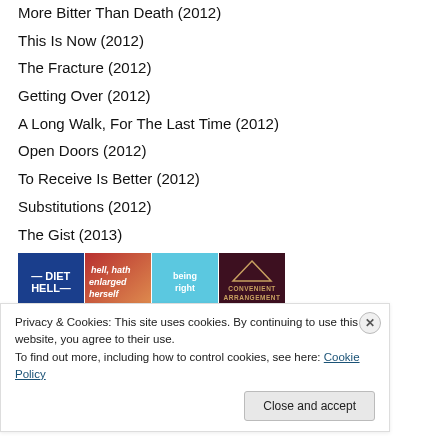More Bitter Than Death (2012)
This Is Now (2012)
The Fracture (2012)
Getting Over (2012)
A Long Walk, For The Last Time (2012)
Open Doors (2012)
To Receive Is Better (2012)
Substitutions (2012)
The Gist (2013)
[Figure (illustration): Four book covers: Diet Hell (blue), hell hath enlarged herself (orange/red gradient), being right (light blue), A Convenient Arrangement (dark red/maroon)]
Privacy & Cookies: This site uses cookies. By continuing to use this website, you agree to their use.
To find out more, including how to control cookies, see here: Cookie Policy